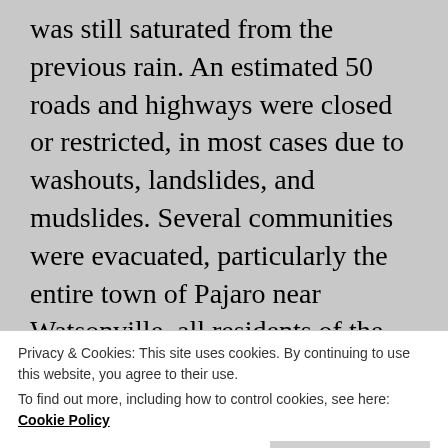was still saturated from the previous rain. An estimated 50 roads and highways were closed or restricted, in most cases due to washouts, landslides, and mudslides. Several communities were evacuated, particularly the entire town of Pajaro near Watsonville, all residents of the Sherwood Lake Mobile Home Park near Carr Lake in Salinas, and portions of Bolsa Knolls and Toro Estates. Drinking water quality warnings remained in effect for certain areas for some time afterward. By the end of the first week of February, at least 6,600 homes and businesses had been without power for varying periods of time. The State
Privacy & Cookies: This site uses cookies. By continuing to use this website, you agree to their use. To find out more, including how to control cookies, see here: Cookie Policy
experienced severe damage of eight residential